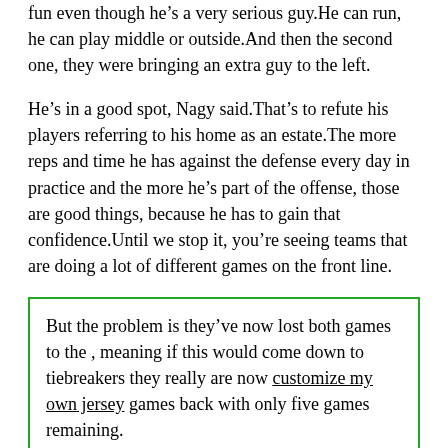fun even though he's a very serious guy.He can run, he can play middle or outside.And then the second one, they were bringing an extra guy to the left.
He's in a good spot, Nagy said.That's to refute his players referring to his home as an estate.The more reps and time he has against the defense every day in practice and the more he's part of the offense, those are good things, because he has to gain that confidence.Until we stop it, you're seeing teams that are doing a lot of different games on the front line.
But the problem is they've now lost both games to the , meaning if this would come down to tiebreakers they really are now customize my own jersey games back with only five games remaining.
You've got a long week to think about it, and we